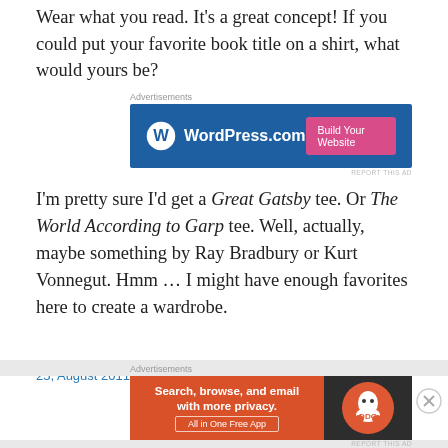Wear what you read. It's a great concept! If you could put your favorite book title on a shirt, what would yours be?
[Figure (screenshot): WordPress.com advertisement banner with blue background, WordPress logo, site name, and pink 'Build Your Website' button]
I'm pretty sure I'd get a Great Gatsby tee. Or The World According to Garp tee. Well, actually, maybe something by Ray Bradbury or Kurt Vonnegut. Hmm … I might have enough favorites here to create a wardrobe.
25, August 2011    4 Replies
[Figure (screenshot): DuckDuckGo advertisement banner: orange section with 'Search, browse, and email with more privacy. All in One Free App' and dark section with DuckDuckGo logo]